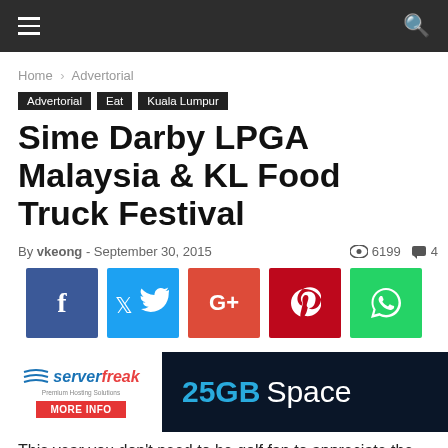≡  🔍
Home › Advertorial
Advertorial  Eat  Kuala Lumpur
Sime Darby LPGA Malaysia & KL Food Truck Festival
By vkeong - September 30, 2015   👁 6199  💬 4
[Figure (other): Social sharing buttons: Facebook, Twitter, Google+, Pinterest, WhatsApp]
[Figure (other): Server Freak advertisement banner: 25GB Space MORE INFO]
This year you don't need to be golf fan to appreciate the upcoming Sime Darby LPGA Malaysia